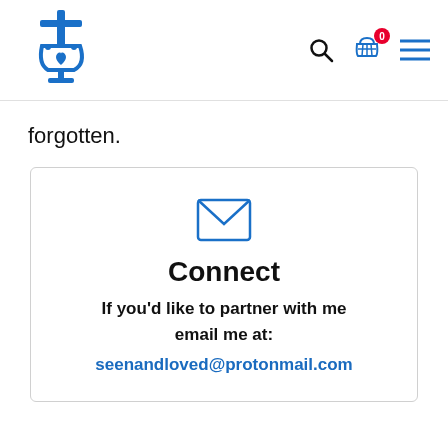Navigation header with church logo, search icon, cart (0 items), and menu icon
forgotten.
[Figure (other): Connect card with envelope icon, title 'Connect', body text 'If you'd like to partner with me email me at:', and email link seenandloved@protonmail.com]